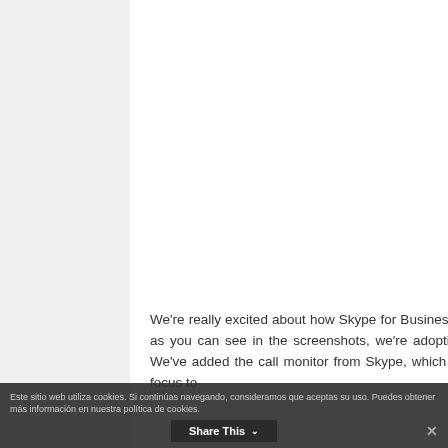We're really excited about how Skype for Business takes advantage of the strengths of both Skype and Lync. For example, as you can see in the screenshots, we're adopting the familiar Skype icons for calling, adding video and ending a call. We've added the call monitor from Skype, which keeps an active call visible in a small window even when a user moves focus to
Este sitio web utiliza cookies. Si continúas navegando, consideramos que aceptas su uso. Puedes obtener más información en nuestra política de cookies.
Share This